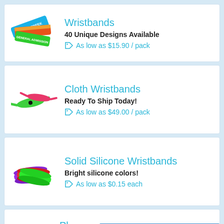[Figure (photo): Tyvek wristbands product card with colorful tyvek wristbands image]
Wristbands
40 Unique Designs Available
As low as $15.90 / pack
[Figure (photo): Cloth wristbands product card with green and pink cloth wristbands image]
Cloth Wristbands
Ready To Ship Today!
As low as $49.00 / pack
[Figure (photo): Solid silicone wristbands product card with purple, red, and green silicone bands]
Solid Silicone Wristbands
Bright silicone colors!
As low as $0.15 each
Pl
Leave a message